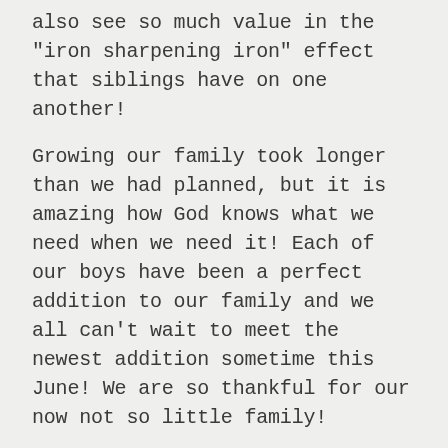also see so much value in the "iron sharpening iron" effect that siblings have on one another!
Growing our family took longer than we had planned, but it is amazing how God knows what we need when we need it! Each of our boys have been a perfect addition to our family and we all can't wait to meet the newest addition sometime this June! We are so thankful for our now not so little family!
Big update next week...